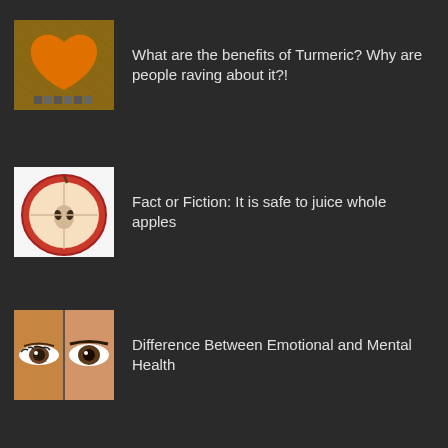[Figure (photo): Turmeric in a heart shape on burlap background]
What are the benefits of Turmeric? Why are people raving about it?!
[Figure (photo): Cross-section of a red apple]
Fact or Fiction: It is safe to juice whole apples
[Figure (photo): Close-up of two faces showing eyes — woman and man side by side]
Difference Between Emotional and Mental Health
POPULAR CATEGORY
Healthy living
Believe in yourself
Vegan recipes
Let's get moving